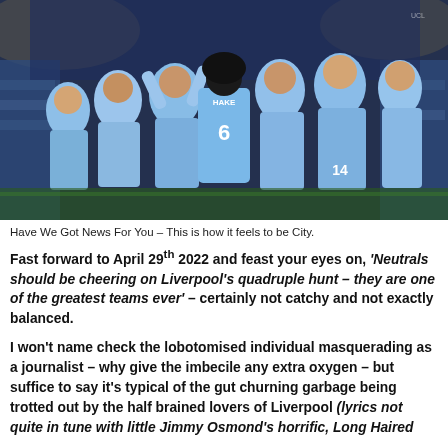[Figure (photo): Football players in light blue Manchester City kits celebrating together in a huddle on the pitch, with a crowd in the background.]
Have We Got News For You – This is how it feels to be City.
Fast forward to April 29th 2022 and feast your eyes on, 'Neutrals should be cheering on Liverpool's quadruple hunt – they are one of the greatest teams ever' – certainly not catchy and not exactly balanced.
I won't name check the lobotomised individual masquerading as a journalist – why give the imbecile any extra oxygen – but suffice to say it's typical of the gut churning garbage being trotted out by the half brained lovers of Liverpool (lyrics not quite in tune with little Jimmy Osmond's horrific, Long Haired